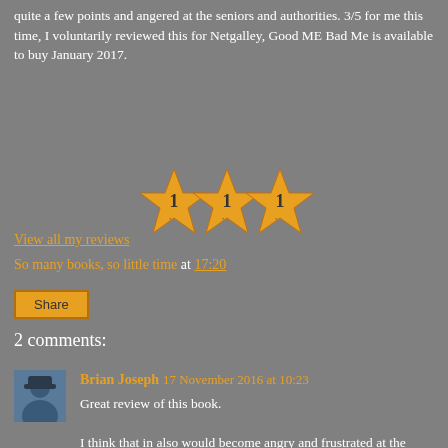quite a few points and angered at the seniors and authorities. 3/5 for me this time, I voluntarily reviewed this for Netgalley, Good ME Bad Me is available to buy January 2017.
[Figure (illustration): Three orange/gold star rating icons arranged horizontally, each star has decorative detail inside]
View all my reviews
So many books, so little time at 17:20
Share
2 comments:
Brian Joseph 17 November 2016 at 10:23
Great review of this book.
I think that in also would become angry and frustrated at the situation that you describe in this book. It is